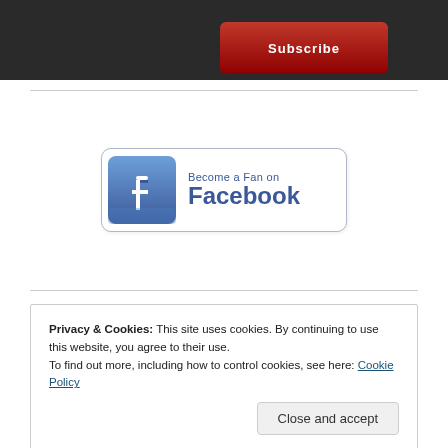[Figure (screenshot): Dark top bar with a red YouTube-style button on the right side]
[Figure (logo): Facebook 'Become a Fan on Facebook' badge with blue Facebook logo icon and text]
Privacy & Cookies: This site uses cookies. By continuing to use this website, you agree to their use.
To find out more, including how to control cookies, see here: Cookie Policy
Close and accept